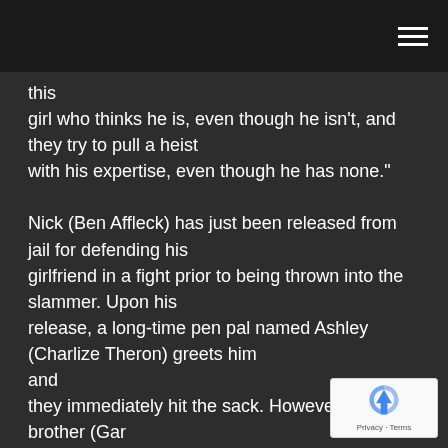this
girl who thinks he is, even though he isn't, and they try to pull a heist
with his expertise, even though he has none."

Nick (Ben Affleck) has just been released from jail for defending his
girlfriend in a fight prior to being thrown into the slammer. Upon his
release, a long-time pen pal named Ashley (Charlize Theron) greets him
and
they immediately hit the sack. However, her brother (Gar
Sinise) wants
Nick